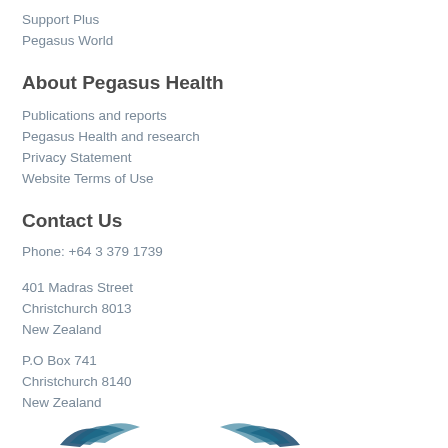Support Plus
Pegasus World
About Pegasus Health
Publications and reports
Pegasus Health and research
Privacy Statement
Website Terms of Use
Contact Us
Phone: +64 3 379 1739
401 Madras Street
Christchurch 8013
New Zealand
P.O Box 741
Christchurch 8140
New Zealand
[Figure (logo): Pegasus Health logo at the bottom of the page]